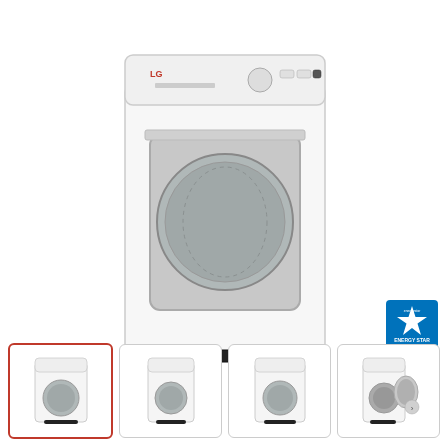[Figure (photo): LG white front-load dryer, main product photo on white background, showing top control panel with knobs and buttons, large circular glass door window revealing drum interior]
[Figure (logo): ENERGY STAR certification logo — blue rectangle with white 'ENERGY STAR' text and star icon]
[Figure (photo): Thumbnail 1 (selected, red border): LG white dryer front view, small]
[Figure (photo): Thumbnail 2: LG white dryer slight angle view, small]
[Figure (photo): Thumbnail 3: LG white dryer front angle view, small]
[Figure (photo): Thumbnail 4: LG white dryer with door open showing drum interior, small, with right navigation arrow overlay]